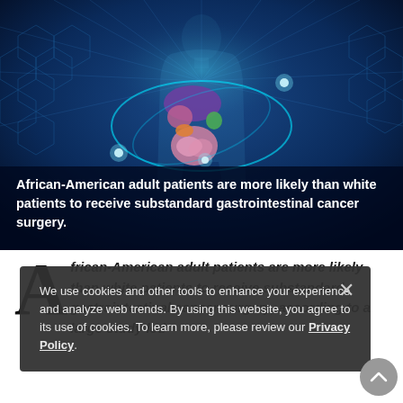[Figure (illustration): Medical illustration showing a glowing human torso with gastrointestinal organs highlighted (liver, gallbladder, intestines) on a blue digital background with hexagonal patterns and glowing light rays]
African-American adult patients are more likely than white patients to receive substandard gastrointestinal cancer surgery.
African-American adult patients are more likely than white patients to receive substandard gastrointestinal cancer surgery, according to a large study led
We use cookies and other tools to enhance your experience and analyze web trends. By using this website, you agree to its use of cookies. To learn more, please review our Privacy Policy.